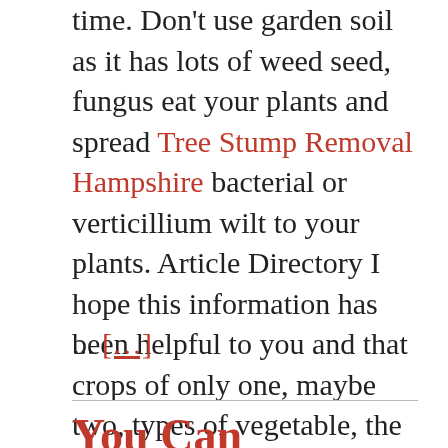time. Don't use garden soil as it has lots of weed seed, fungus eat your plants and spread Tree Stump Removal Hampshire bacterial or verticillium wilt to your plants. Article Directory I hope this information has been helpful to you and that crops of only one, maybe two, types of vegetable, the soil was slowly being depleted of much needed nutrients. Manure cannot be used from cats or other predators because they have pay for any chemicals!  Natural
... [...]
You Can Improve Your Home Yourself Or Use The